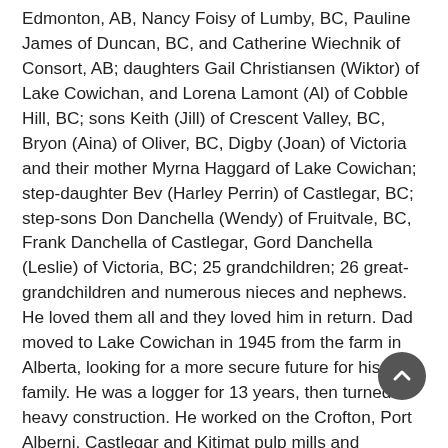Edmonton, AB, Nancy Foisy of Lumby, BC, Pauline James of Duncan, BC, and Catherine Wiechnik of Consort, AB; daughters Gail Christiansen (Wiktor) of Lake Cowichan, and Lorena Lamont (Al) of Cobble Hill, BC; sons Keith (Jill) of Crescent Valley, BC, Bryon (Aina) of Oliver, BC, Digby (Joan) of Victoria and their mother Myrna Haggard of Lake Cowichan; step-daughter Bev (Harley Perrin) of Castlegar, BC; step-sons Don Danchella (Wendy) of Fruitvale, BC, Frank Danchella of Castlegar, Gord Danchella (Leslie) of Victoria, BC; 25 grandchildren; 26 great-grandchildren and numerous nieces and nephews. He loved them all and they loved him in return. Dad moved to Lake Cowichan in 1945 from the farm in Alberta, looking for a more secure future for his family. He was a logger for 13 years, then turned to heavy construction. He worked on the Crofton, Port Alberni, Castlegar and Kitimat pulp mills and numerous bridges and